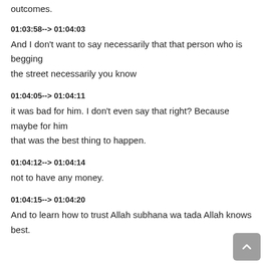outcomes.
01:03:58--> 01:04:03
And I don't want to say necessarily that that person who is begging the street necessarily you know
01:04:05--> 01:04:11
it was bad for him. I don't even say that right? Because maybe for him that was the best thing to happen.
01:04:12--> 01:04:14
not to have any money.
01:04:15--> 01:04:20
And to learn how to trust Allah subhana wa tada Allah knows best.